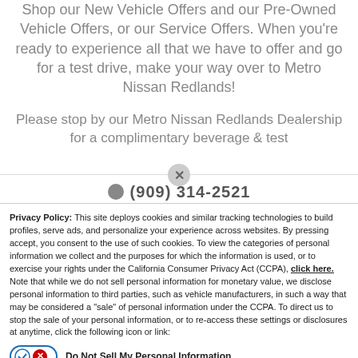Shop our New Vehicle Offers and our Pre-Owned Vehicle Offers, or our Service Offers. When you're ready to experience all that we have to offer and go for a test drive, make your way over to Metro Nissan Redlands!
Please stop by our Metro Nissan Redlands Dealership for a complimentary beverage & test drive. You can call us at (909) 314-2521
Privacy Policy: This site deploys cookies and similar tracking technologies to build profiles, serve ads, and personalize your experience across websites. By pressing accept, you consent to the use of such cookies. To view the categories of personal information we collect and the purposes for which the information is used, or to exercise your rights under the California Consumer Privacy Act (CCPA), click here. Note that while we do not sell personal information for monetary value, we disclose personal information to third parties, such as vehicle manufacturers, in such a way that may be considered a "sale" of personal information under the CCPA. To direct us to stop the sale of your personal information, or to re-access these settings or disclosures at anytime, click the following icon or link:
Do Not Sell My Personal Information
Language: English
Powered by ComplyAuto
Accept and Continue →
California Privacy Disclosures